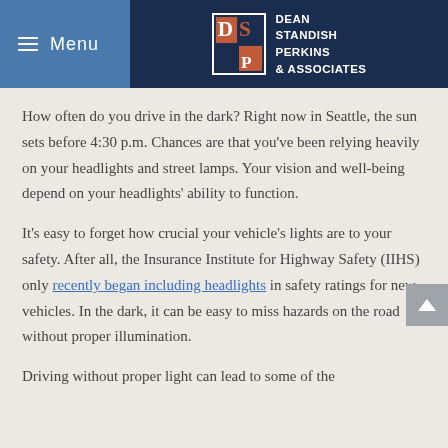Menu | Dean Standish Perkins & Associates
How often do you drive in the dark? Right now in Seattle, the sun sets before 4:30 p.m. Chances are that you've been relying heavily on your headlights and street lamps. Your vision and well-being depend on your headlights' ability to function.
It's easy to forget how crucial your vehicle's lights are to your safety. After all, the Insurance Institute for Highway Safety (IIHS) only recently began including headlights in safety ratings for new vehicles. In the dark, it can be easy to miss hazards on the road without proper illumination.
Driving without proper light can lead to some of the